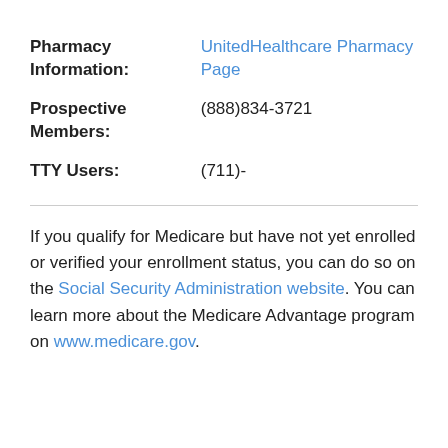| Pharmacy Information: | UnitedHealthcare Pharmacy Page |
| Prospective Members: | (888)834-3721 |
| TTY Users: | (711)- |
If you qualify for Medicare but have not yet enrolled or verified your enrollment status, you can do so on the Social Security Administration website. You can learn more about the Medicare Advantage program on www.medicare.gov.